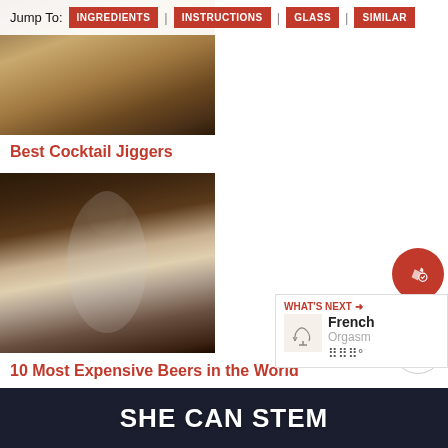[Figure (photo): Partial top view of cocktail jiggers on a wooden slab]
Jump To: INGREDIENTS | INSTRUCTIONS | GLASS | SIMILAR
Best Cocktail Jiggers
[Figure (photo): A squirrel standing on a bar with whiskey being poured around it, several glasses visible]
10 Most Expensive Beers in the World
[Figure (photo): Partial view of decorative liquor bottles]
[Figure (infographic): Like button (1) and share button on the right side]
WHAT'S NEXT → French Orgasm
SHE CAN STEM